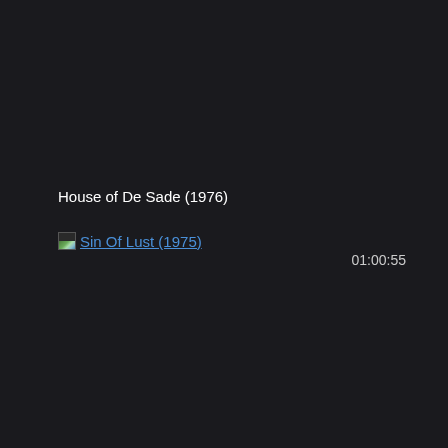House of De Sade (1976)
Sin Of Lust (1975)
01:00:55